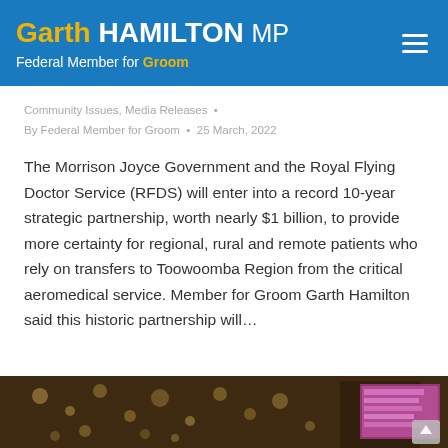Garth HAMILTON MP — Federal Member for Groom
Community Issues, Media Releases  •  By Federal Member for Groom • 25 March, 2022
The Morrison Joyce Government and the Royal Flying Doctor Service (RFDS) will enter into a record 10-year strategic partnership, worth nearly $1 billion, to provide more certainty for regional, rural and remote patients who rely on transfers to Toowoomba Region from the critical aeromedical service. Member for Groom Garth Hamilton said this historic partnership will…
[Figure (photo): Partial photo strip at bottom showing a person at an event with bokeh string lights in background and a screen visible on the right]